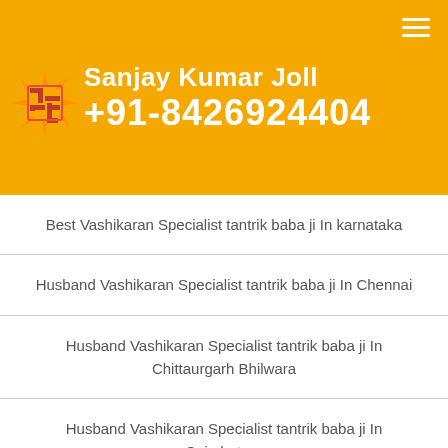Sanjay Kumar Joll +91-8426924404
Best Vashikaran Specialist tantrik baba ji In karnataka
Husband Vashikaran Specialist tantrik baba ji In Chennai
Husband Vashikaran Specialist tantrik baba ji In Chittaurgarh Bhilwara
Husband Vashikaran Specialist tantrik baba ji In Coimbatore
Husband Vashikaran Specialist tantrik baba ji In